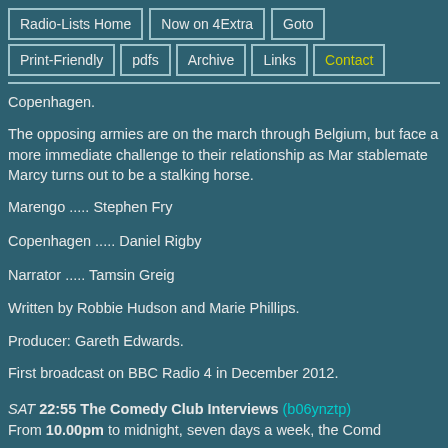Radio-Lists Home | Now on 4Extra | Goto | Print-Friendly | pdfs | Archive | Links | Contact
Copenhagen.
The opposing armies are on the march through Belgium, but face a more immediate challenge to their relationship as Marengo's stablemate Marcy turns out to be a stalking horse.
Marengo ..... Stephen Fry
Copenhagen ..... Daniel Rigby
Narrator ..... Tamsin Greig
Written by Robbie Hudson and Marie Phillips.
Producer: Gareth Edwards.
First broadcast on BBC Radio 4 in December 2012.
SAT 22:55 The Comedy Club Interviews (b06ynztp)
From 10.00pm to midnight, seven days a week, the Comed